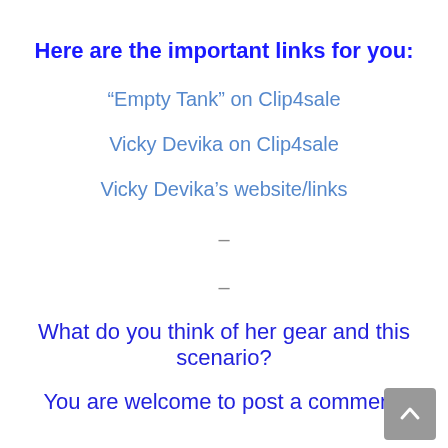Here are the important links for you:
“Empty Tank” on Clip4sale
Vicky Devika on Clip4sale
Vicky Devika’s website/links
–
–
What do you think of her gear and this scenario?
You are welcome to post a comment!